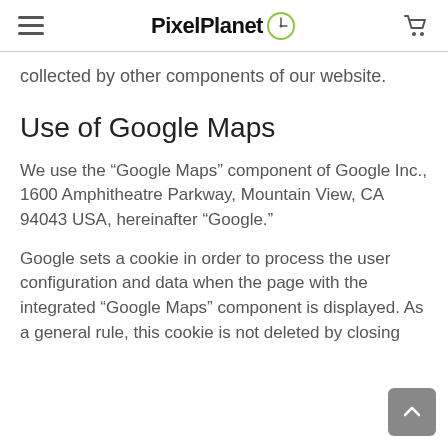PixelPlanet
collected by other components of our website.
Use of Google Maps
We use the “Google Maps” component of Google Inc., 1600 Amphitheatre Parkway, Mountain View, CA 94043 USA, hereinafter “Google.”
Google sets a cookie in order to process the user configuration and data when the page with the integrated “Google Maps” component is displayed. As a general rule, this cookie is not deleted by closing